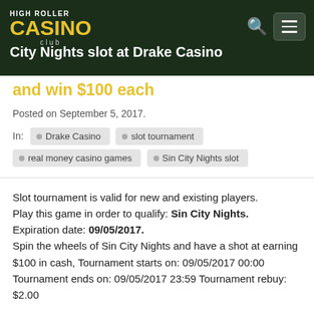HIGH ROLLER CASINO club
City Nights slot at Drake Casino and win $100 each
Posted on September 5, 2017.
In: Drake Casino  slot tournament  real money casino games  Sin City Nights slot
Slot tournament is valid for new and existing players. Play this game in order to qualify: Sin City Nights. Expiration date: 09/05/2017. Spin the wheels of Sin City Nights and have a shot at earning $100 in cash, Tournament starts on: 09/05/2017 00:00 Tournament ends on: 09/05/2017 23:59 Tournament rebuy: $2.00
Bonus code: Not required
Get this bonus now!